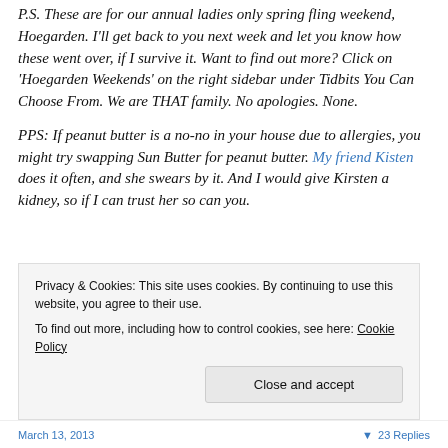P.S. These are for our annual ladies only spring fling weekend, Hoegarden. I'll get back to you next week and let you know how these went over, if I survive it. Want to find out more? Click on 'Hoegarden Weekends' on the right sidebar under Tidbits You Can Choose From. We are THAT family. No apologies. None.
PPS: If peanut butter is a no-no in your house due to allergies, you might try swapping Sun Butter for peanut butter. My friend Kisten does it often, and she swears by it. And I would give Kirsten a kidney, so if I can trust her so can you.
Privacy & Cookies: This site uses cookies. By continuing to use this website, you agree to their use. To find out more, including how to control cookies, see here: Cookie Policy
March 13, 2013   ▼ 23 Replies